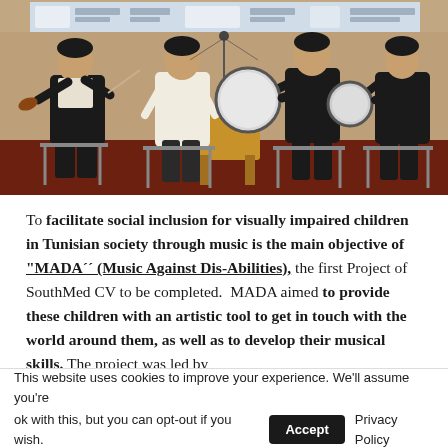[Figure (photo): Four musicians performing on stage. From left to right: a man playing violin, a man playing a hammered dulcimer/qanun, a man playing a large frame drum, and a man playing a smaller frame drum/tambourine. A banner with logos is visible in the background.]
To facilitate social inclusion for visually impaired children in Tunisian society through music is the main objective of “MADA´´ (Music Against Dis-Abilities), the first Project of SouthMed CV to be completed. MADA aimed to provide these children with an artistic tool to get in touch with the world around them, as well as to develop their musical skills. The project was led by
This website uses cookies to improve your experience. We’ll assume you’re ok with this, but you can opt-out if you wish. Accept  Privacy Policy